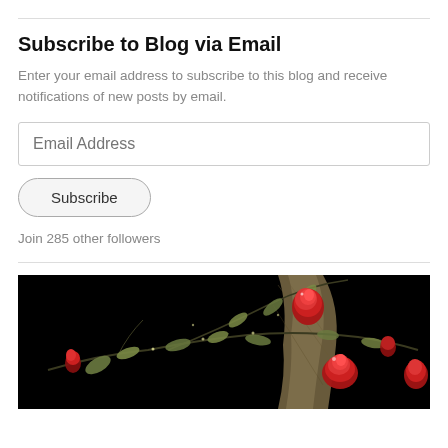Subscribe to Blog via Email
Enter your email address to subscribe to this blog and receive notifications of new posts by email.
Email Address
Subscribe
Join 285 other followers
[Figure (photo): Dark background image with red roses and green leaves on a vine branch, with a brownish textured vertical element (possibly a tree trunk or post) in the background.]